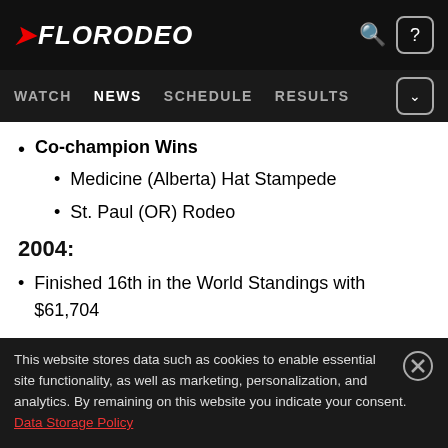FLORODEO — WATCH | NEWS | SCHEDULE | RESULTS
Co-champion Wins
Medicine (Alberta) Hat Stampede
St. Paul (OR) Rodeo
2004:
Finished 16th in the World Standings with $61,704
2003:
This website stores data such as cookies to enable essential site functionality, as well as marketing, personalization, and analytics. By remaining on this website you indicate your consent. Data Storage Policy